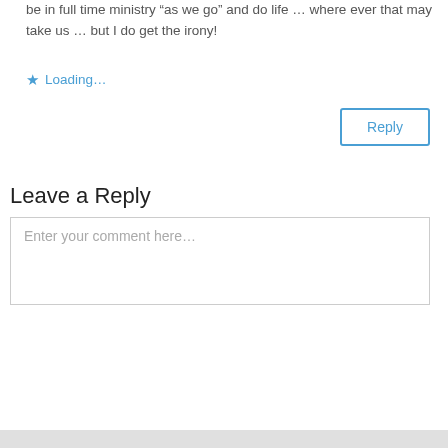be in full time ministry “as we go” and do life … where ever that may take us … but I do get the irony!
★ Loading…
[Figure (other): Reply button with blue border]
Leave a Reply
[Figure (other): Comment text input box with placeholder text: Enter your comment here...]